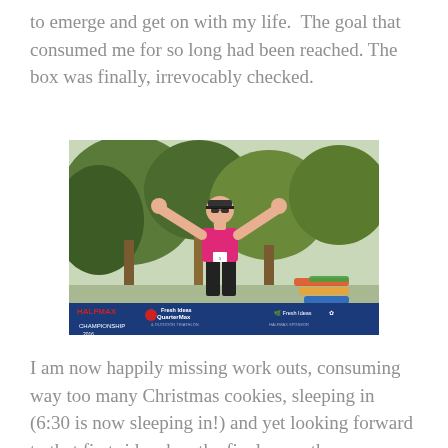to emerge and get on with my life. The goal that consumed me for so long had been reached. The box was finally, irrevocably checked.
[Figure (photo): Woman in pink tank top and black visor with arms raised in triumph at a triathlon finish area. A banner at the bottom reads HALFMAX 2016 / Fresh Ideas QuarterMax / Fresh Ideas. Trees and kayaks visible in the background.]
I am now happily missing work outs, consuming way too many Christmas cookies, sleeping in (6:30 is now sleeping in!) and yet looking forward to that first ride when the final snow thaws.